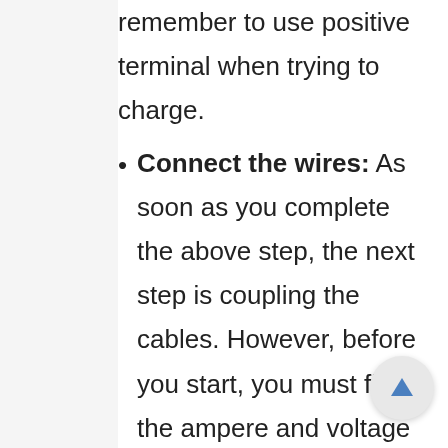remember to use positive terminal when trying to charge.
Connect the wires: As soon as you complete the above step, the next step is coupling the cables. However, before you start, you must fix the ampere and voltage of the charger to suit your car's battery. When you do this, locate the alligator clips, the red and black clips. You should connect the red clip (positive wire) to your battery's positive terminal and the black clip (negative cable) to the